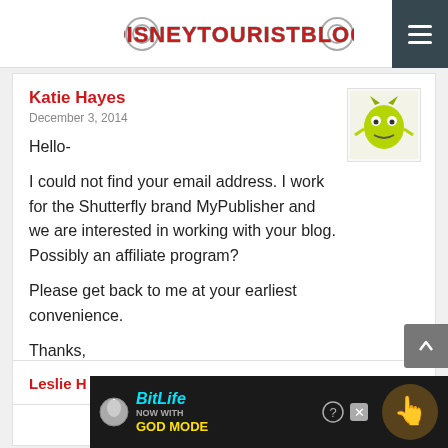DISNEYTOURISTBLOG
Katie Hayes
December 3, 2014
Hello-
I could not find your email address. I work for the Shutterfly brand MyPublisher and we are interested in working with your blog. Possibly an affiliate program? Please get back to me at your earliest convenience.
Thanks,
Katie
Reply
Leslie H (tripswithtykes)
Ku...
[Figure (screenshot): BitLife ad banner: NOW WITH GOD MODE]